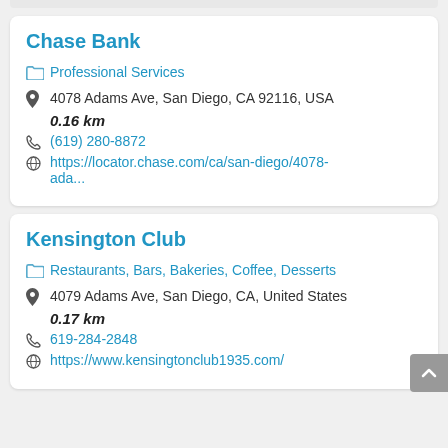Chase Bank
Professional Services
4078 Adams Ave, San Diego, CA 92116, USA
0.16 km
(619) 280-8872
https://locator.chase.com/ca/san-diego/4078-ada...
Kensington Club
Restaurants, Bars, Bakeries, Coffee, Desserts
4079 Adams Ave, San Diego, CA, United States
0.17 km
619-284-2848
https://www.kensingtonclub1935.com/